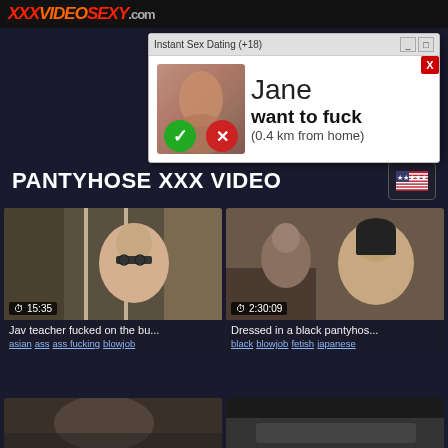XXXVIDEOSEXY.com
[Figure (screenshot): Ad popup window titled 'Instant Sex Dating (+18)' showing a notification that 'Jane want to fuck (0.4 km from home)' with accept/decline buttons]
PANTYHOSE XXX VIDEO
[Figure (screenshot): Video thumbnail showing a woman on a bus/train, duration 15:35]
Jav teacher fucked on the bu...
asian ass ass fucking blowjob
[Figure (screenshot): Video thumbnail showing people on a train, duration 2:30:09]
Dressed in a black pantyhos...
black blowjob fetish japanese
[Figure (screenshot): Partial video thumbnail at bottom left]
[Figure (screenshot): Partial video thumbnail at bottom right showing pantyhose]